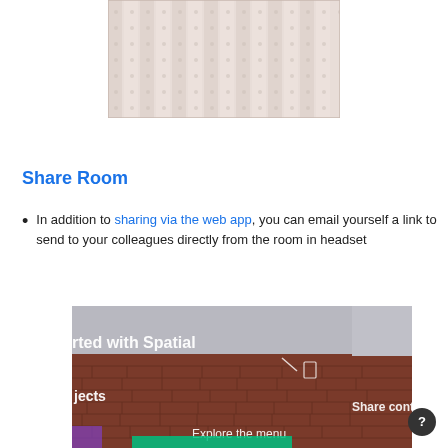[Figure (photo): Top portion of page showing a textured pattern image (wood/fabric stripe texture in light pink/gray tones)]
Share Room
In addition to sharing via the web app, you can email yourself a link to send to your colleagues directly from the room in headset
[Figure (screenshot): Screenshot of Spatial VR app showing a brick wall environment with text overlays: 'rted with Spatial', 'jects', 'Explore the menu', 'Share content fr']